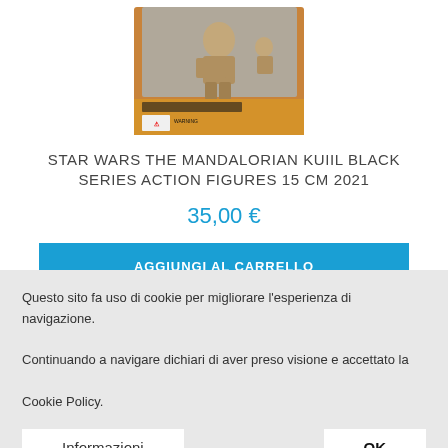[Figure (photo): Product photo of Star Wars The Mandalorian Kuiil Black Series Action Figure box packaging, showing the figure against an orange background with the Mandalorian branding.]
STAR WARS THE MANDALORIAN KUIIL BLACK SERIES ACTION FIGURES 15 CM 2021
35,00 €
AGGIUNGI AL CARRELLO
Questo sito fa uso di cookie per migliorare l'esperienza di navigazione. Continuando a navigare dichiari di aver preso visione e accettato la Cookie Policy.
Informazioni
OK